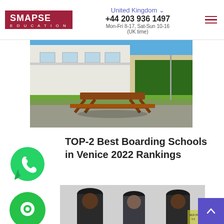United Kingdom | +44 203 936 1497 | Mon-Fri 8-17, Sat-Sun 10-16 (UK time)
[Figure (photo): Outdoor area of a school building with a picnic table on a green lawn, modern white building in background, clear blue sky]
TOP-2 Best Boarding Schools in Venice 2022 Rankings
[Figure (logo): WhatsApp circular green icon with phone handset]
[Figure (logo): Green circular chat/message icon]
[Figure (photo): People wearing black hats outdoors, partial view]
[Figure (other): Scroll to top purple button with upward arrow]